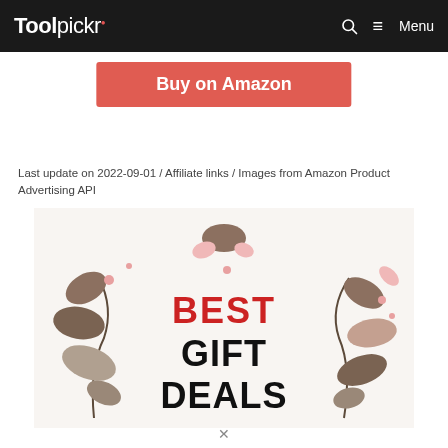Toolpickr — Menu
[Figure (other): Buy on Amazon button (red/salmon background, white text)]
Last update on 2022-09-01 / Affiliate links / Images from Amazon Product Advertising API
[Figure (illustration): Decorative illustration with botanical leaf motifs in muted pink and taupe colors, text reads BEST GIFT DEALS in bold red and black lettering]